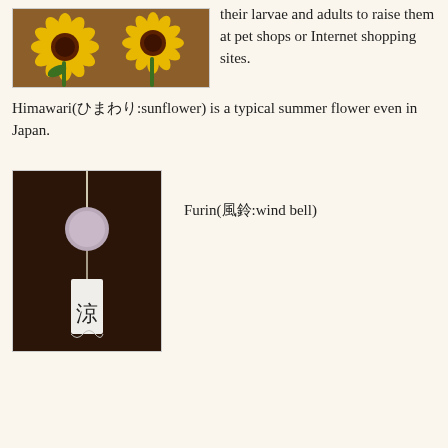[Figure (photo): Two decorative sunflower crafts on a brown background]
their larvae and adults to raise them at pet shops or Internet shopping sites.
Himawari(ひまわり:sunflower) is a typical summer flower even in Japan.
[Figure (photo): A furin (Japanese wind bell) with a white paper strip showing a kanji character, hanging against a dark background]
Furin(風鈴:wind bell)